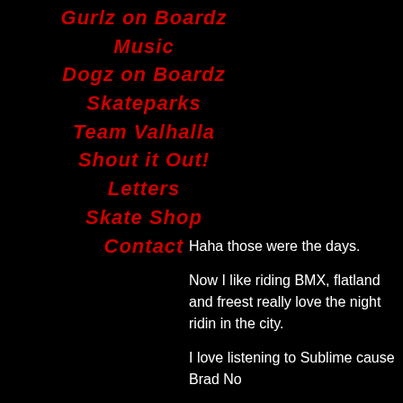Gurlz on Boardz
Music
Dogz on Boardz
Skateparks
Team Valhalla
Shout it Out!
Letters
Skate Shop
Contact
Haha those were the days.
Now I like riding BMX, flatland and freest really love the night ridin in the city.
I love listening to Sublime cause Brad No